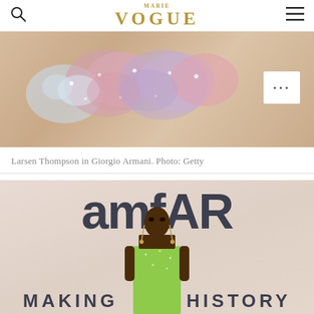VOGUE
[Figure (photo): Close-up photo of a sparkly/fluffy fashion accessory (hair clip or brooch) with pink, lavender and clear crystal/sequin ruffled details on a beige background]
Larsen Thompson in Giorgio Armani. Photo: Getty
[Figure (photo): Photo of a woman standing in front of an amfAR 'MAKING HISTORY' event backdrop, wearing a strapless lime green sequined dress with chandelier earrings]